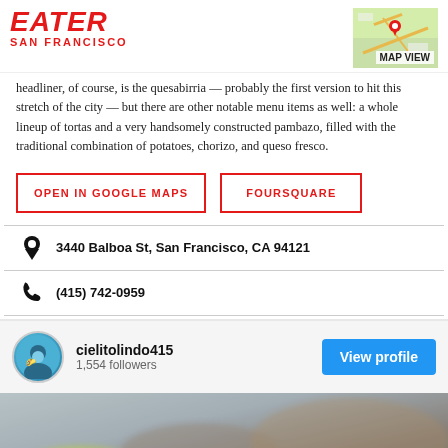EATER SAN FRANCISCO
headliner, of course, is the quesabirria — probably the first version to hit this stretch of the city — but there are other notable menu items as well: a whole lineup of tortas and a very handsomely constructed pambazo, filled with the traditional combination of potatoes, chorizo, and queso fresco.
OPEN IN GOOGLE MAPS
FOURSQUARE
3440 Balboa St, San Francisco, CA 94121
(415) 742-0959
cielitolindo415
1,554 followers
[Figure (photo): Blurred food photo showing what appears to be a dish with green/yellow elements]